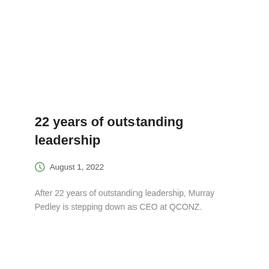22 years of outstanding leadership
August 1, 2022
After 22 years of outstanding leadership, Murray Pedley is stepping down as CEO at QCONZ.